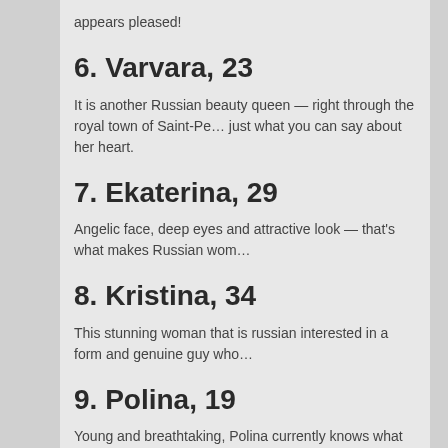appears pleased!
6. Varvara, 23
It is another Russian beauty queen — right through the royal town of Saint-Pe... just what you can say about her heart.
7. Ekaterina, 29
Angelic face, deep eyes and attractive look — that's what makes Russian wom...
8. Kristina, 34
This stunning woman that is russian interested in a form and genuine guy who...
9. Polina, 19
Young and breathtaking, Polina currently knows what her aspiration in life is. T...
10. Regina, 24
Regina originates from a maybe perhaps not well-known Russian town of Ste...